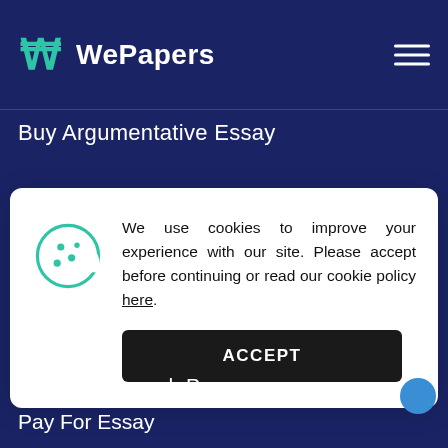WePapers
Buy Argumentative Essay
Essay Topic Generator
Cookies Policy
We use cookies to improve your experience with our site. Please accept before continuing or read our cookie policy here.
Pay for Research Paper
Pay For Essay
Essay Topics Lists